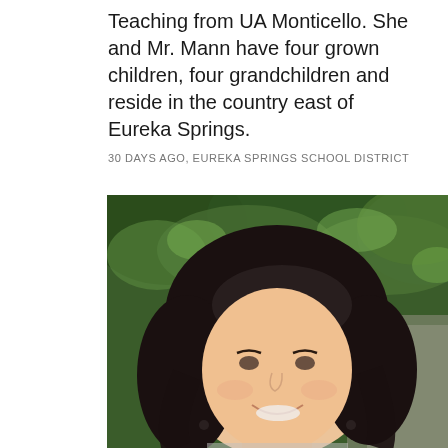Teaching from UA Monticello. She and Mr. Mann have four grown children, four grandchildren and reside in the country east of Eureka Springs.
30 DAYS AGO, EUREKA SPRINGS SCHOOL DISTRICT
[Figure (photo): Portrait photo of a woman with dark hair, smiling, with green foliage in the background.]